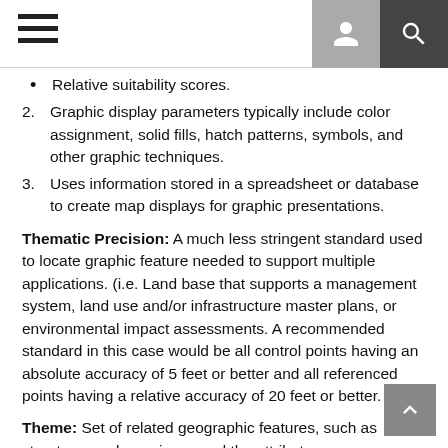Relative suitability scores.
2. Graphic display parameters typically include color assignment, solid fills, hatch patterns, symbols, and other graphic techniques.
3. Uses information stored in a spreadsheet or database to create map displays for graphic presentations.
Thematic Precision: A much less stringent standard used to locate graphic feature needed to support multiple applications. (i.e. Land base that supports a management system, land use and/or infrastructure master plans, or environmental impact assessments. A recommended standard in this case would be all control points having an absolute accuracy of 5 feet or better and all referenced points having a relative accuracy of 20 feet or better.
Theme: Set of related geographic features, such as streets, parcels, or rivers, and the attributes